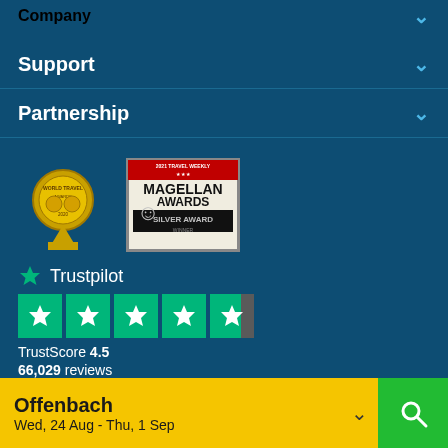Company
Support
Partnership
[Figure (logo): World Travel Awards gold badge and 2021 Travel Weekly Magellan Awards Silver Award Winner badge]
[Figure (logo): Trustpilot logo with green star, 4.5 star rating, TrustScore 4.5 with 66,029 reviews]
TrustScore 4.5
66,029 reviews
[Figure (screenshot): Google Play and Apple App Store download buttons]
Offenbach
Wed, 24 Aug - Thu, 1 Sep